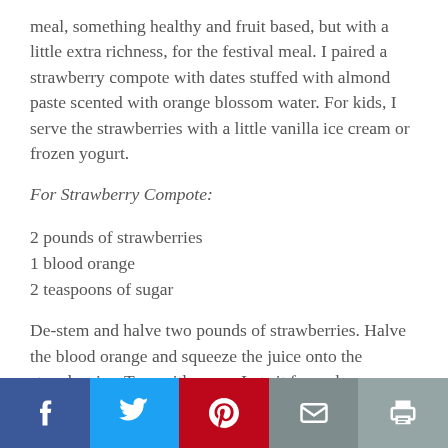meal, something healthy and fruit based, but with a little extra richness, for the festival meal. I paired a strawberry compote with dates stuffed with almond paste scented with orange blossom water. For kids, I serve the strawberries with a little vanilla ice cream or frozen yogurt.
For Strawberry Compote:
2 pounds of strawberries
1 blood orange
2 teaspoons of sugar
De-stem and halve two pounds of strawberries. Halve the blood orange and squeeze the juice onto the strawberries. Toss with sugar. Let sit for an hour.
Social share bar: Facebook, Twitter, Pinterest, Email, Print